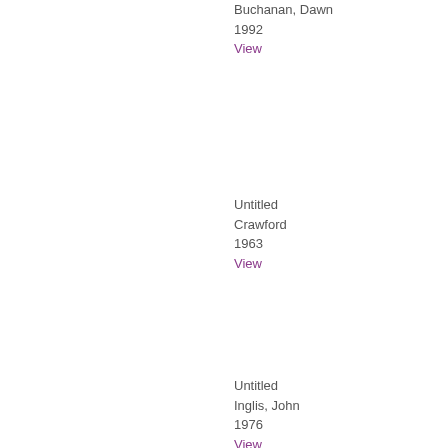Buchanan, Dawn
1992
View
Untitled
Crawford
1963
View
Untitled
Inglis, John
1976
View